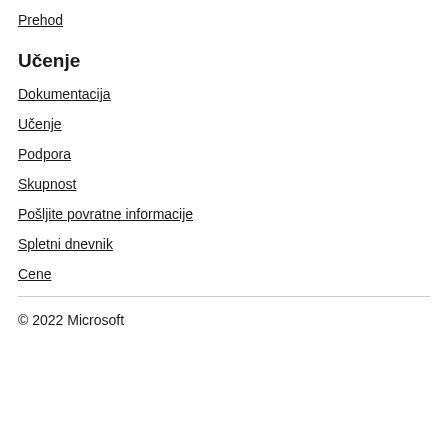Prehod
Učenje
Dokumentacija
Učenje
Podpora
Skupnost
Pošljite povratne informacije
Spletni dnevnik
Cene
© 2022 Microsoft